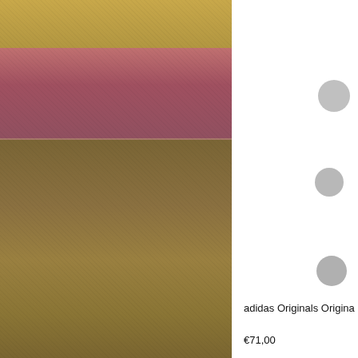[Figure (photo): Product photo of adidas Originals bag/item showing gold and mauve/pink leather texture, cropped view on left side of page]
adidas Originals Origina
€71,00